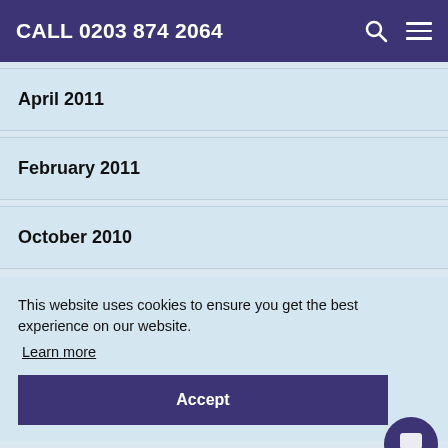CALL 0203 874 2064
April 2011
February 2011
October 2010
This website uses cookies to ensure you get the best experience on our website.
Learn more
Accept
June 2010